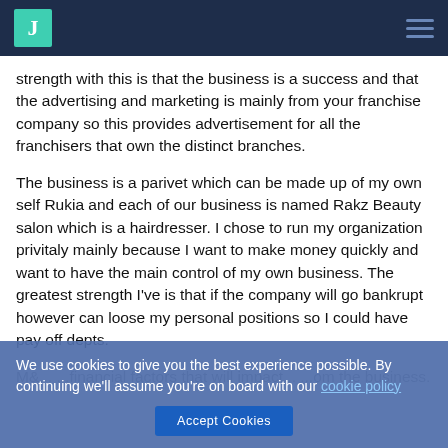J [logo] [hamburger menu]
strength with this is that the business is a success and that the advertising and marketing is mainly from your franchise company so this provides advertisement for all the franchisers that own the distinct branches.
The business is a parivet which can be made up of my own self Rukia and each of our business is named Rakz Beauty salon which is a hairdresser. I chose to run my organization privitaly mainly because I want to make money quickly and want to have the main control of my own business. The greatest strength I've is that if the company will go bankrupt however can loose my personal positions so I could have pay off depts.
M&... ...financial factors that will impact... ...om the business.
We use cookies to give you the best experience possible. By continuing we'll assume you're on board with our cookie policy
Accept Cookies